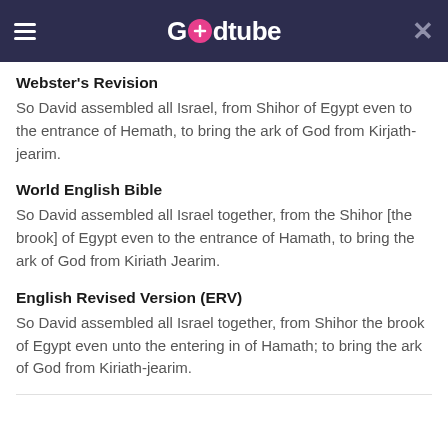Godtube
Webster's Revision
So David assembled all Israel, from Shihor of Egypt even to the entrance of Hemath, to bring the ark of God from Kirjath-jearim.
World English Bible
So David assembled all Israel together, from the Shihor [the brook] of Egypt even to the entrance of Hamath, to bring the ark of God from Kiriath Jearim.
English Revised Version (ERV)
So David assembled all Israel together, from Shihor the brook of Egypt even unto the entering in of Hamath; to bring the ark of God from Kiriath-jearim.